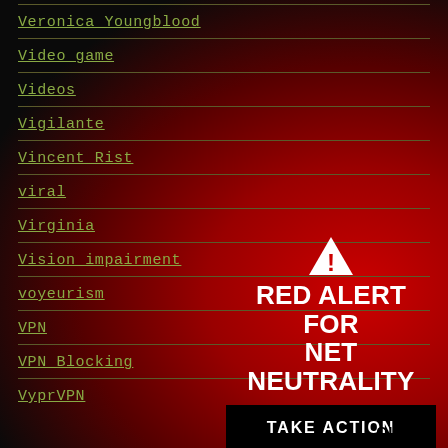Veronica Youngblood
Video game
Videos
Vigilante
Vincent Rist
viral
Virginia
Vision impairment
voyeurism
VPN
VPN Blocking
VyprVPN
[Figure (infographic): Red Alert for Net Neutrality overlay with warning triangle icon, red radial gradient background, white bold text 'RED ALERT FOR NET NEUTRALITY', black button 'TAKE ACTION', and 'CLOSE' link]
CLOSE